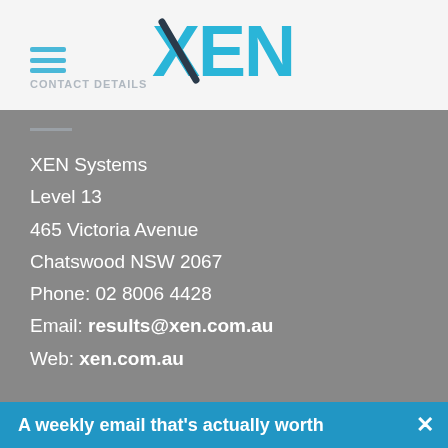[Figure (logo): XEN logo in cyan/blue with a diagonal slash through the X]
CONTACT DETAILS
XEN Systems
Level 13
465 Victoria Avenue
Chatswood NSW 2067
Phone: 02 8006 4428
Email: results@xen.com.au
Web: xen.com.au
ABOUT XEN
We help mid-large companies and government departments with their digital strategy, including SEO
A weekly email that's actually worth